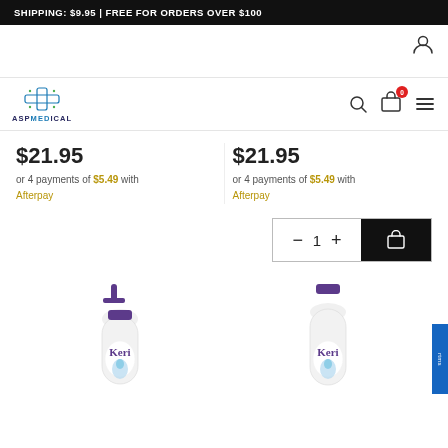SHIPPING: $9.95 | FREE FOR ORDERS OVER $100
[Figure (logo): ASP Medical logo with blue cross icon and text ASP MEDICAL]
$21.95
or 4 payments of $5.49 with Afterpay
$21.95
or 4 payments of $5.49 with Afterpay
[Figure (screenshot): Quantity selector showing minus, 1, plus controls and add to cart button]
[Figure (photo): Keri lotion bottle with pump, white bottle with purple cap and blue teardrop design]
[Figure (photo): Keri lotion bottle, white bottle with purple cap and blue teardrop design]